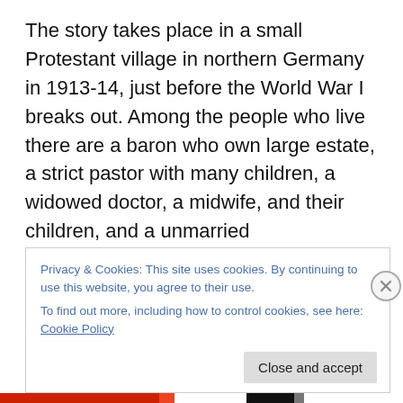The story takes place in a small Protestant village in northern Germany in 1913-14, just before the World War I breaks out. Among the people who live there are a baron who own large estate, a strict pastor with many children, a widowed doctor, a midwife, and their children, and a unmarried schoolteacher who tells this story many years later. Since the first incident happened, the doctor falls down from his horse and is severely wounded by wire placed at the entrance of his house, a string of disturbing and distressing accidents occur and gradually
Privacy & Cookies: This site uses cookies. By continuing to use this website, you agree to their use.
To find out more, including how to control cookies, see here: Cookie Policy